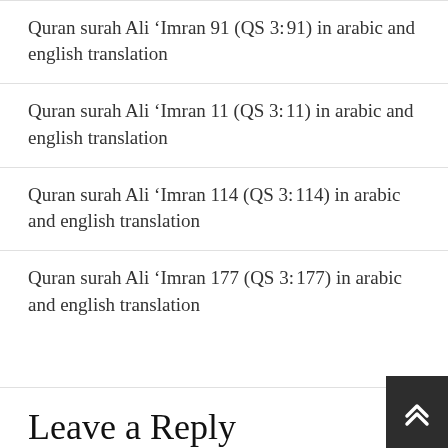Quran surah Ali ‘Imran 91 (QS 3:​91) in arabic and english translation
Quran surah Ali ‘Imran 11 (QS 3:​11) in arabic and english translation
Quran surah Ali ‘Imran 114 (QS 3:​114) in arabic and english translation
Quran surah Ali ‘Imran 177 (QS 3:​177) in arabic and english translation
Leave a Reply